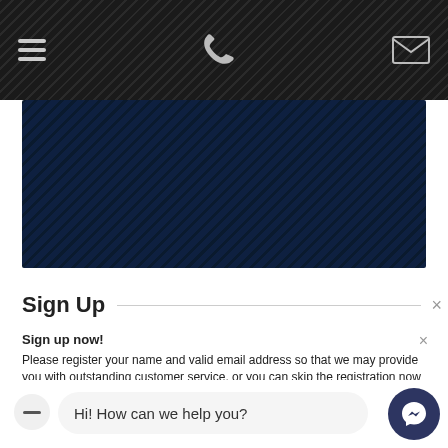[Figure (screenshot): Dark striped navigation bar with hamburger menu icon, phone icon, and envelope/email icon]
[Figure (screenshot): Dark blue diagonally striped hero banner area]
Sign Up
Sign up now! Please register your name and valid email address so that we may provide you with outstanding customer service, or you can skip the registration now and continue viewing the page by closing this modal window or by clicking this link

To create an account, please select a provider:
[Figure (screenshot): Provider selection buttons (Facebook and Google circular icons) partially visible]
Hi! How can we help you?
[Figure (screenshot): Messenger chat button (dark blue circle with messenger lightning bolt icon)]